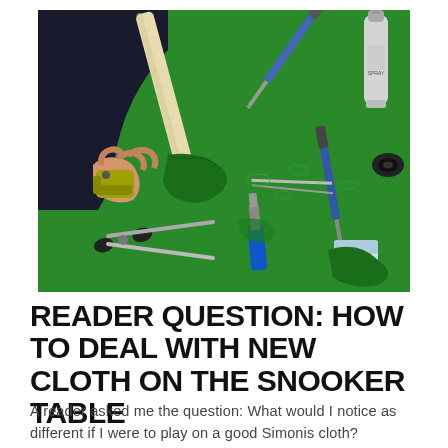[Figure (photo): Hands working on a green snooker table cloth with tools including screwdrivers, scissors, pliers, and a staple gun visible on the green baize surface.]
READER QUESTION: HOW TO DEAL WITH NEW CLOTH ON THE SNOOKER TABLE
A reader asked me the question: What would I notice as different if I were to play on a good Simonis cloth?